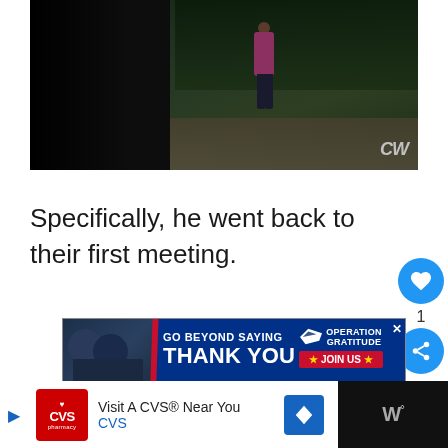[Figure (screenshot): TV screenshot from The CW showing a dark outdoor scene at night with a person in a pink/magenta top standing on a dirt path surrounded by dark trees. CW network logo visible in bottom right corner.]
Specifically, he went back to their first meeting.
[Figure (other): Advertisement banner: GO BEYOND SAYING THANK YOU - OPERATION GRATITUDE - JOIN US with military-themed imagery and red/blue/white design.]
[Figure (other): Bottom bar advertisement: Visit A CVS Near You - CVS pharmacy logo with heart, navigation arrow icon, and weather widget showing temperature.]